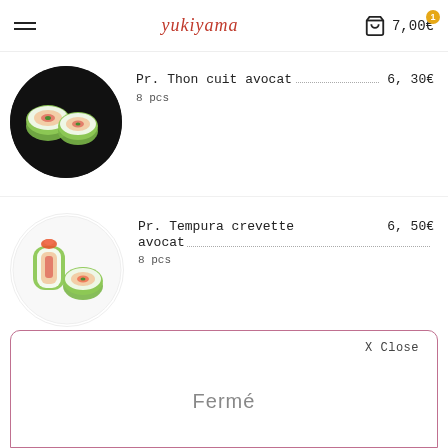yukiyama  7,00€
[Figure (photo): Sushi rolls wrapped in green cucumber/avocado on a black plate - Pr. Thon cuit avocat]
Pr. Thon cuit avocat  6,30€
8 pcs
[Figure (photo): Sushi rolls wrapped in green cucumber/avocado with shrimp on a white plate - Pr. Tempura crevette avocat]
Pr. Tempura crevette avocat  6,50€
8 pcs
X Close
Fermé